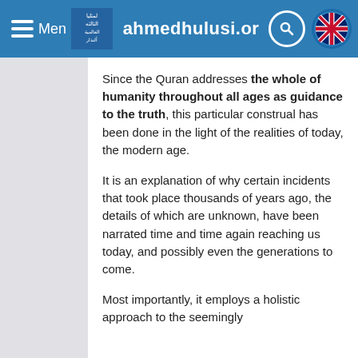Menu ahmedhulusi.org
Since the Quran addresses the whole of humanity throughout all ages as guidance to the truth, this particular construal has been done in the light of the realities of today, the modern age.
It is an explanation of why certain incidents that took place thousands of years ago, the details of which are unknown, have been narrated time and time again reaching us today, and possibly even the generations to come.
Most importantly, it employs a holistic approach to the seemingly